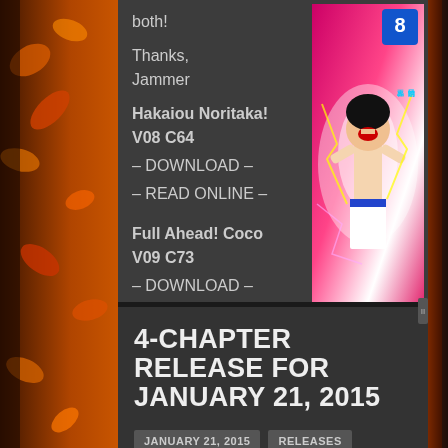both!
Thanks,
Jammer
Hakaiou Noritaka! V08 C64
– DOWNLOAD –
– READ ONLINE –
[Figure (illustration): Manga volume cover for Hakaiou Noritaka! Volume 8, showing an anime-style character with pink/white color scheme]
Full Ahead! Coco V09 C73
– DOWNLOAD –
– READ ONLINE –
4-CHAPTER RELEASE FOR JANUARY 21, 2015
JANUARY 21, 2015   RELEASES